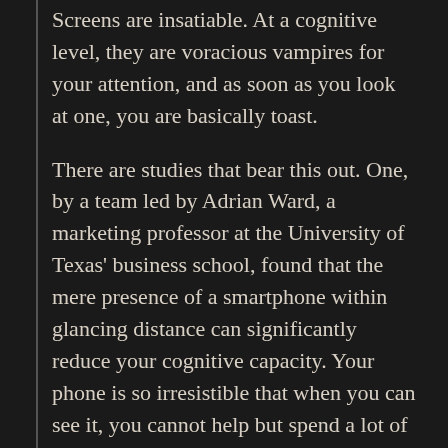Screens are insatiable. At a cognitive level, they are voracious vampires for your attention, and as soon as you look at one, you are basically toast.
There are studies that bear this out. One, by a team led by Adrian Ward, a marketing professor at the University of Texas' business school, found that the mere presence of a smartphone within glancing distance can significantly reduce your cognitive capacity. Your phone is so irresistible that when you can see it, you cannot help but spend a lot of otherwise